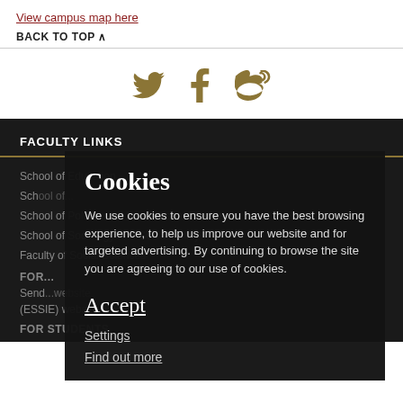View campus map here
BACK TO TOP ∧
[Figure (other): Social media icons: Twitter bird, Facebook f, Weibo]
FACULTY LINKS
School of Education
School of...
School of Politics and International Studies
School of Sociology and Social Policy
Faculty of Social Sciences
FOR...
Send...website
(ESSIE) website
FOR STUDENTS
Cookies
We use cookies to ensure you have the best browsing experience, to help us improve our website and for targeted advertising. By continuing to browse the site you are agreeing to our use of cookies.
Accept
Settings
Find out more